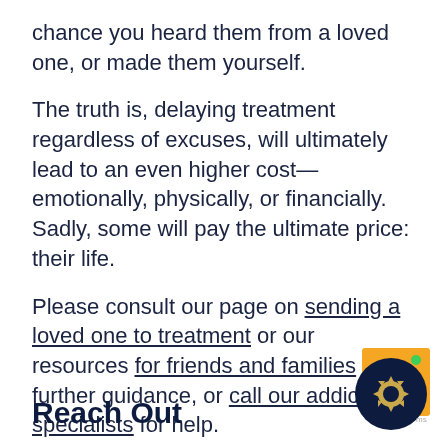chance you heard them from a loved one, or made them yourself.
The truth is, delaying treatment regardless of excuses, will ultimately lead to an even higher cost—emotionally, physically, or financially. Sadly, some will pay the ultimate price: their life.
Please consult our page on sending a loved one to treatment or our resources for friends and families for further guidance, or call our addiction specialists for help.
Reach Out
[Figure (logo): Circular dark navy logo with a gold/yellow crown or sun-like symbol, on an orange square background, partially overlapping the bottom right corner.]